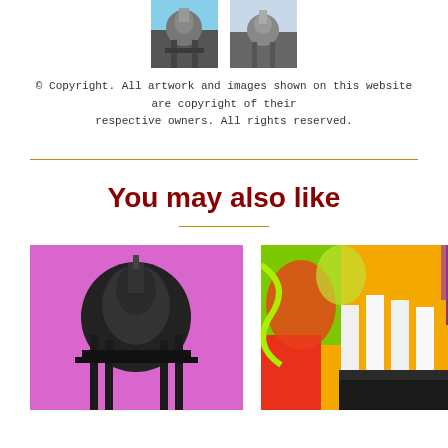[Figure (photo): Two small thumbnail images of artwork: left shows St Paul's Cathedral with blue sky pop-art style, right shows a similar architectural image]
© Copyright. All artwork and images shown on this website are copyright of their respective owners. All rights reserved.
[Figure (photo): Large artwork image on the left: St Paul's Cathedral dome rendered in black and white on a pink/magenta background, pop-art style]
[Figure (photo): Large artwork image on the right: colorful graffiti-style painting featuring industrial chimneys (Battersea Power Station style) with bright orange, green, yellow and purple colors]